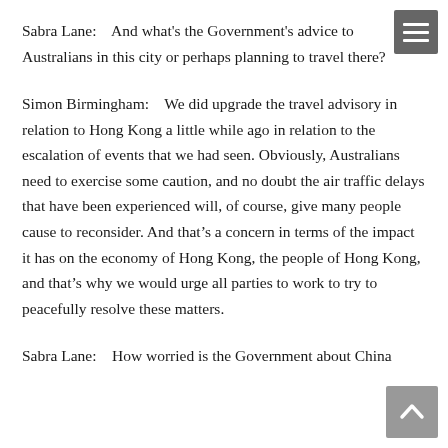Sabra Lane:    And what's the Government's advice to Australians in this city or perhaps planning to travel there?
Simon Birmingham:    We did upgrade the travel advisory in relation to Hong Kong a little while ago in relation to the escalation of events that we had seen. Obviously, Australians need to exercise some caution, and no doubt the air traffic delays that have been experienced will, of course, give many people cause to reconsider. And that's a concern in terms of the impact it has on the economy of Hong Kong, the people of Hong Kong, and that's why we would urge all parties to work to try to peacefully resolve these matters.
Sabra Lane:    How worried is the Government about China